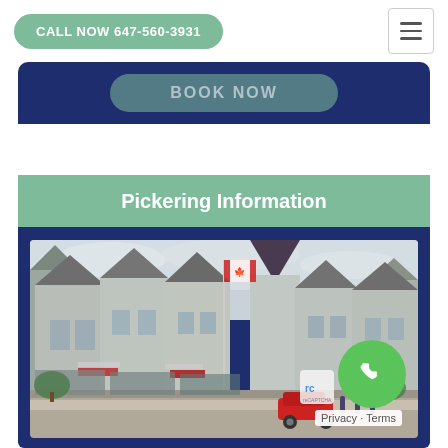CALL NOW 647-560-3931
[Figure (screenshot): Dark navy blue banner with a semi-transparent green rounded button showing partially visible text (BOOK NOW or similar)]
Pickering Information
[Figure (photo): Street-level photo of Pickering showing Victorian-style townhouses and shops with grey/beige siding, peaked roofs, Canadian flag, flower boxes, and parked cars on a cloudy day]